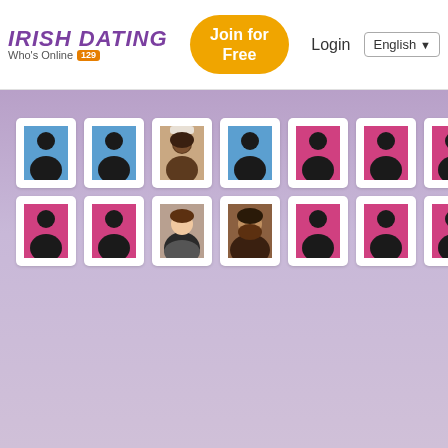IRISH DATING — Who's Online 129 — Join for Free — Login — English
[Figure (screenshot): Grid of dating site profile thumbnails: 14 profile cards arranged in 2 rows of 7. Row 1: 4 blue-background male silhouettes, 1 real photo of a Black woman, 3 pink-background female silhouettes. Row 2: 2 pink-background silhouettes, 1 real photo of a young white woman, 1 real photo of a bearded man, 3 pink-background female silhouettes.]